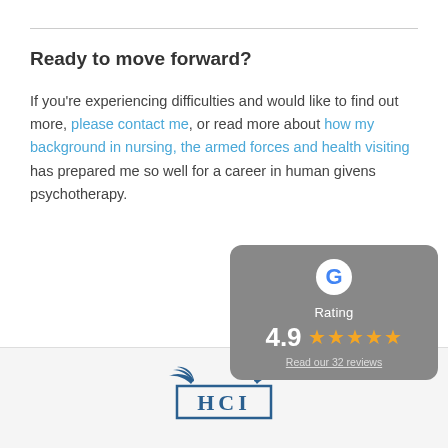Ready to move forward?
If you’re experiencing difficulties and would like to find out more, please contact me, or read more about how my background in nursing, the armed forces and health visiting has prepared me so well for a career in human givens psychotherapy.
[Figure (infographic): Google rating card showing 4.9 stars and 'Read our 32 reviews' link]
[Figure (logo): HCI logo with wings and letters HCI in a box]